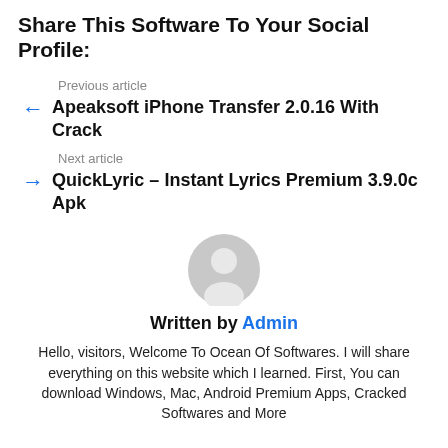Share This Software To Your Social Profile:
Previous article
Apeaksoft iPhone Transfer 2.0.16 With Crack
Next article
QuickLyric – Instant Lyrics Premium 3.9.0c Apk
[Figure (illustration): Grey circular avatar/user icon placeholder]
Written by Admin
Hello, visitors, Welcome To Ocean Of Softwares. I will share everything on this website which I learned. First, You can download Windows, Mac, Android Premium Apps, Cracked Softwares and More